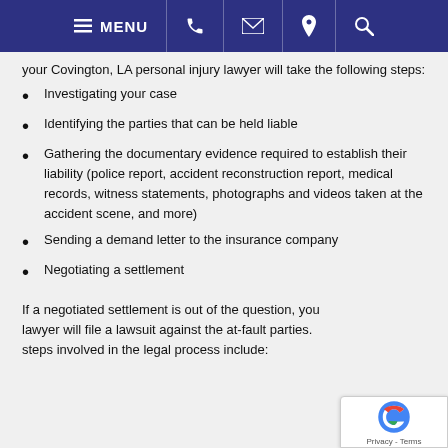MENU
your Covington, LA personal injury lawyer will take the following steps:
Investigating your case
Identifying the parties that can be held liable
Gathering the documentary evidence required to establish their liability (police report, accident reconstruction report, medical records, witness statements, photographs and videos taken at the accident scene, and more)
Sending a demand letter to the insurance company
Negotiating a settlement
If a negotiated settlement is out of the question, your lawyer will file a lawsuit against the at-fault parties. steps involved in the legal process include: